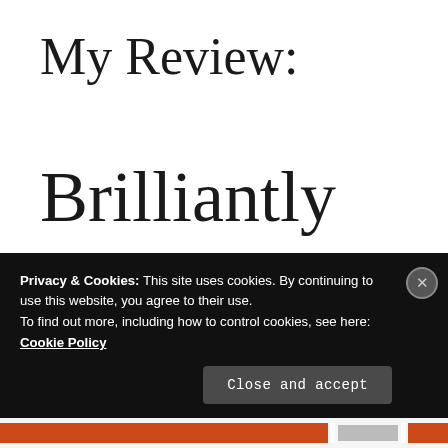My Review:
Brilliantly done in the style of Ken Follet. Vivid emotional scenes, and the...
Privacy & Cookies: This site uses cookies. By continuing to use this website, you agree to their use.
To find out more, including how to control cookies, see here: Cookie Policy
Close and accept